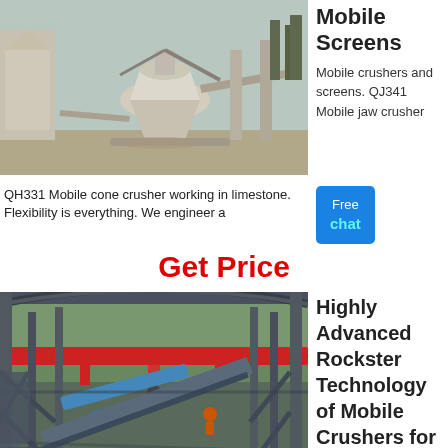[Figure (photo): QH331 Mobile cone crusher working in limestone plant, industrial machinery photo]
Mobile Screens
Mobile crushers and screens. QJ341 Mobile jaw crusher
QH331 Mobile cone crusher working in limestone. Flexibility is everything. We engineer a
Get Price
[Figure (photo): Industrial conveyor system inside a large steel-framed building with overhead crane and red beam]
Highly Advanced Rockster Technology of Mobile Crushers for